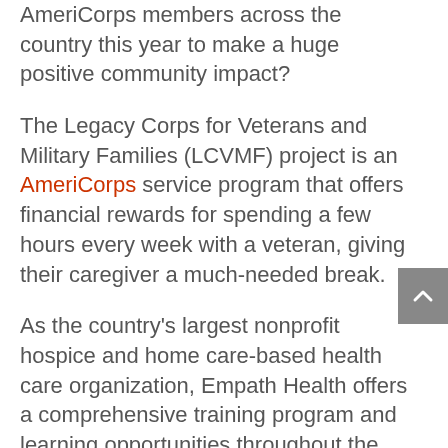AmeriCorps members across the country this year to make a huge positive community impact?
The Legacy Corps for Veterans and Military Families (LCVMF) project is an AmeriCorps service program that offers financial rewards for spending a few hours every week with a veteran, giving their caregiver a much-needed break.
As the country's largest nonprofit hospice and home care-based health care organization, Empath Health offers a comprehensive training program and learning opportunities throughout the year. In addition, AmeriCorps Legacy Corps